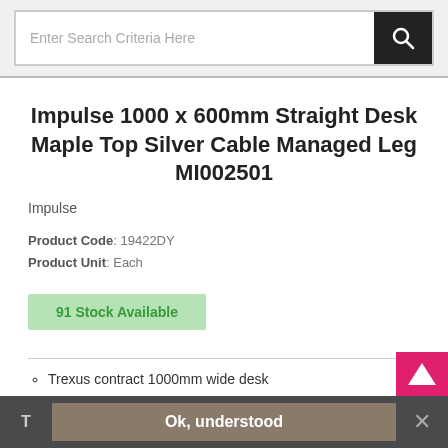Enter Search Criteria Here
Impulse 1000 x 600mm Straight Desk Maple Top Silver Cable Managed Leg MI002501
Impulse
Product Code: 19422DY
Product Unit: Each
91 Stock Available
Trexus contract 1000mm wide desk
25mm tops
Heat resistant maple melamine finish
Ok, understood